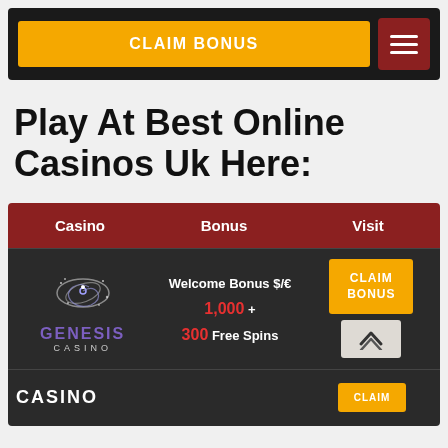[Figure (screenshot): Navigation bar with orange CLAIM BONUS button and dark red hamburger menu icon on dark background]
Play At Best Online Casinos Uk Here:
| Casino | Bonus | Visit |
| --- | --- | --- |
| Genesis Casino | Welcome Bonus $/€ 1,000 + 300 Free Spins | CLAIM BONUS |
| CASINO |  | CLAIM |